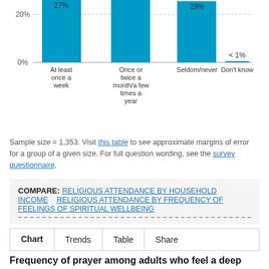[Figure (bar-chart): Religious attendance (partial)]
Sample size = 1,353. Visit this table to see approximate margins of error for a group of a given size. For full question wording, see the survey questionnaire.
COMPARE: RELIGIOUS ATTENDANCE BY HOUSEHOLD INCOME    RELIGIOUS ATTENDANCE BY FREQUENCY OF FEELINGS OF SPIRITUAL WELLBEING
Chart   Trends   Table   Share
Frequency of prayer among adults who feel a deep sense of spiritual peace and wellbeing once or